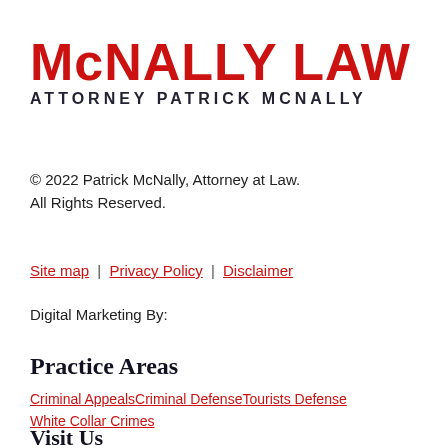McNALLY LAW
ATTORNEY PATRICK MCNALLY
© 2022 Patrick McNally, Attorney at Law. All Rights Reserved.
Site map | Privacy Policy | Disclaimer
Digital Marketing By:
Practice Areas
Criminal AppealsCriminal DefenseTourists DefenseWhite Collar Crimes
Visit Us
40 Burton Hills Blvd